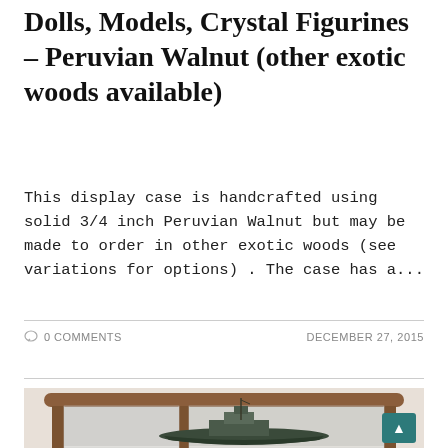Dolls, Models, Crystal Figurines – Peruvian Walnut (other exotic woods available)
This display case is handcrafted using solid 3/4 inch Peruvian Walnut but may be made to order in other exotic woods (see variations for options) . The case has a...
0 COMMENTS
DECEMBER 27, 2015
[Figure (photo): A wooden display case with glass panels showing a model ship (naval/military vessel) inside. The case has warm walnut-toned wood frame with vertical corner posts and a curved top rail. The model ship is dark colored with detailed superstructure. Background is a light gray/white wall.]